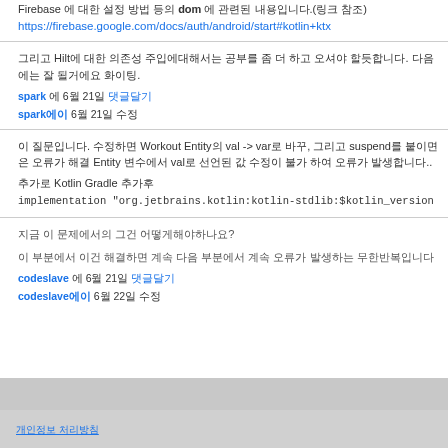Firebase 에 대한 설정 방법 등의 dom 에 관련된 내용입니다.(링크 참조)
https://firebase.google.com/docs/auth/android/start#kotlin+ktx
그리고 Hilt에 대한 의존성 주입에대해서는 공부를 좀 더 하고 오셔야 할듯합니다. 다음에는 잘 될거에요 화이팅.
spark 에 6월 21일 댓글달기
spark에이 6월 21일 수정
이 질문입니다. 수정하면 Workout Entity의 val -> var로 바꾸, 그리고 suspend를 붙이면은 오류가 해결 Entity 변수에서 val로 선언된 값 수정이 불가 하여 오류가 발생합니다...
추가로 Kotlin Gradle 추가후
implementation "org.jetbrains.kotlin:kotlin-stdlib:$kotlin_version"
지금 이 문제에서의 그건 어떻게해야하나요?
이 부분에서 이건 해결하면 계속 다음 부분에서 계속 오류가 발생하는 무한반복입니다
codeslave 에 6월 21일 댓글달기
codeslave에이 6월 22일 수정
개인정보 처리방침